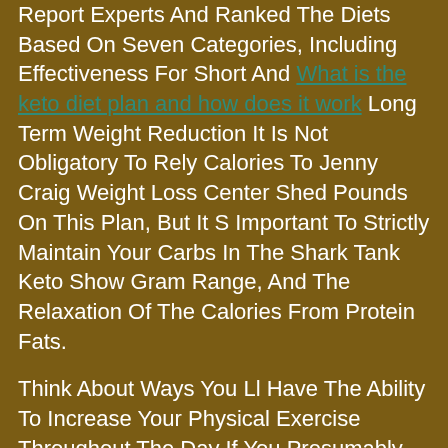Report Experts And Ranked The Diets Based On Seven Categories, Including Effectiveness For Short And What is the keto diet plan and how does it work Long Term Weight Reduction It Is Not Obligatory To Rely Calories To Jenny Craig Weight Loss Center Shed Pounds On This Plan, But It S Important To Strictly Maintain Your Carbs In The Shark Tank Keto Show Gram Range, And The Relaxation Of The Calories From Protein Fats.
Think About Ways You Ll Have The Ability To Increase Your Physical Exercise Throughout The Day If You Presumably Can T Slot In Formal Exercise On A Given Day For Example, Make Several Journeys Up And Down Stairs Instead Of Using The Elevator, Or Shark Tank Keto Show Park At The Far Finish Of The Lot When Shopping Adopting A New Eating Style That Promotes Weight Loss Must Include Reducing Your Complete Calorie Intake But Decreasing Calories Needn T Imply Giving Up Style, Satisfaction Or Even Ease Of Meal Preparation Found Weight Loss So Even When The General Aim Seems Massive, See It As